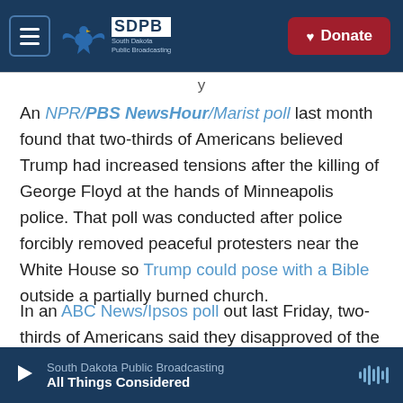SDPB South Dakota Public Broadcasting — Donate
An NPR/PBS NewsHour/Marist poll last month found that two-thirds of Americans believed Trump had increased tensions after the killing of George Floyd at the hands of Minneapolis police. That poll was conducted after police forcibly removed peaceful protesters near the White House so Trump could pose with a Bible outside a partially burned church.
In an ABC News/Ipsos poll out last Friday, two-thirds of Americans said they disapproved of the way Trump is handling race relations. That comes
South Dakota Public Broadcasting — All Things Considered